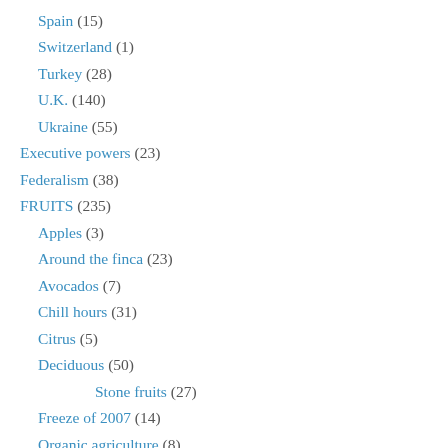Spain (15)
Switzerland (1)
Turkey (28)
U.K. (140)
Ukraine (55)
Executive powers (23)
Federalism (38)
FRUITS (235)
Apples (3)
Around the finca (23)
Avocados (7)
Chill hours (31)
Citrus (5)
Deciduous (50)
Stone fruits (27)
Freeze of 2007 (14)
Organic agriculture (8)
Subtropicals (20)
Green living & voting (11)
Ideology (8)